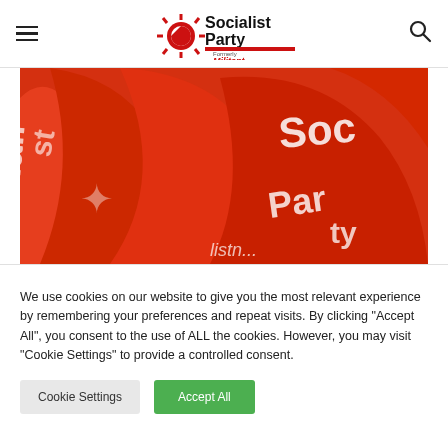Socialist Party — Formerly Militant
[Figure (photo): Red flags with white text reading 'Socialist Party' being waved at a rally or demonstration]
We use cookies on our website to give you the most relevant experience by remembering your preferences and repeat visits. By clicking "Accept All", you consent to the use of ALL the cookies. However, you may visit "Cookie Settings" to provide a controlled consent.
Cookie Settings | Accept All